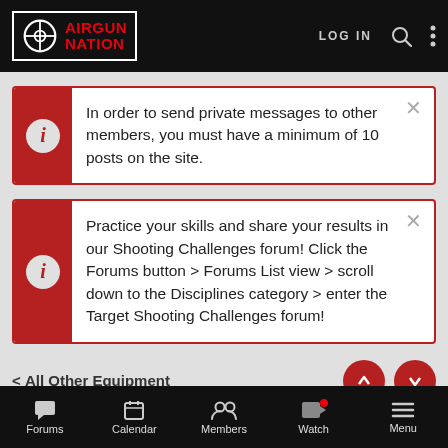[Figure (logo): Airgun Nation logo with crosshair icon, red text on black background]
In order to send private messages to other members, you must have a minimum of 10 posts on the site.
Practice your skills and share your results in our Shooting Challenges forum! Click the Forums button > Forums List view > scroll down to the Disciplines category > enter the Target Shooting Challenges forum!
< All Other Equipment
Having some fun with the Big Blast targets at
Forums | Calendar | Members | Watch | Menu